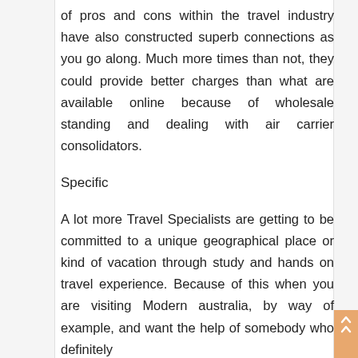of pros and cons within the travel industry have also constructed superb connections as you go along. Much more times than not, they could provide better charges than what are available online because of wholesale standing and dealing with air carrier consolidators.
Specific
A lot more Travel Specialists are getting to be committed to a unique geographical place or kind of vacation through study and hands on travel experience. Because of this when you are visiting Modern australia, by way of example, and want the help of somebody who definitely